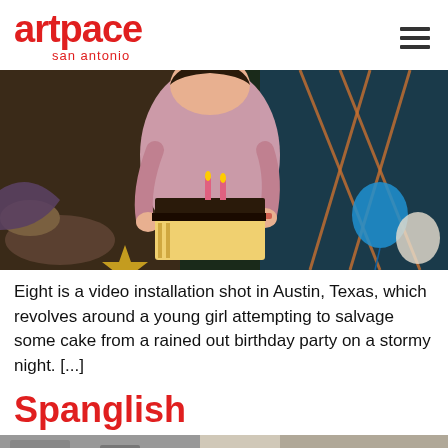artpace san antonio
[Figure (photo): A young girl in a pink dress leaning over a birthday cake with lit candles at an outdoor birthday party. Balloons and party decorations visible in the background. Scene appears to be at night or in dim lighting.]
Eight is a video installation shot in Austin, Texas, which revolves around a young girl attempting to salvage some cake from a rained out birthday party on a stormy night. [...]
Spanglish
[Figure (photo): Partial view of a second photo, cropped at bottom of page, showing an interior scene.]